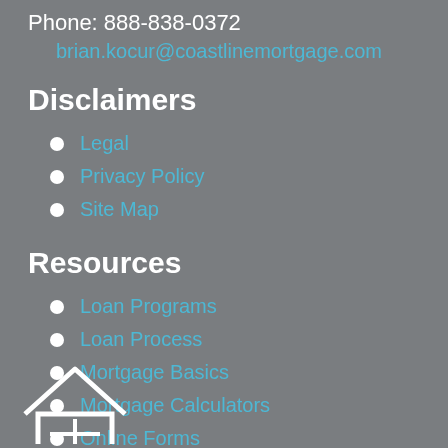Phone: 888-838-0372
brian.kocur@coastlinemortgage.com
Disclaimers
Legal
Privacy Policy
Site Map
Resources
Loan Programs
Loan Process
Mortgage Basics
Mortgage Calculators
Online Forms
FAQ
[Figure (illustration): House icon outline in white at the bottom of the page]